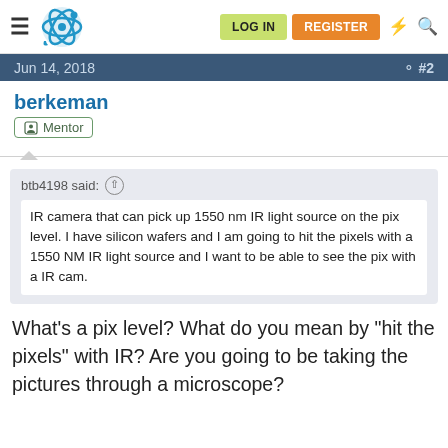LOG IN  REGISTER
Jun 14, 2018  #2
berkeman
Mentor
btb4198 said: IR camera that can pick up 1550 nm IR light source on the pix level. I have silicon wafers and I am going to hit the pixels with a 1550 NM IR light source and I want to be able to see the pix with a IR cam.
What's a pix level? What do you mean by "hit the pixels" with IR? Are you going to be taking the pictures through a microscope?